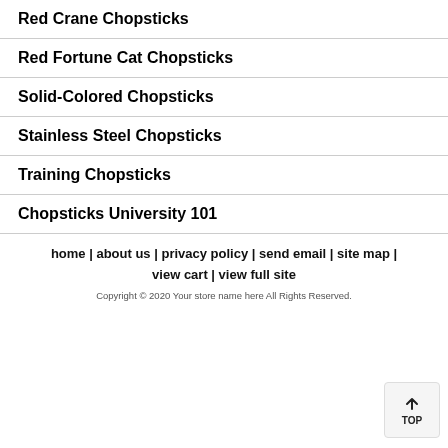Red Crane Chopsticks
Red Fortune Cat Chopsticks
Solid-Colored Chopsticks
Stainless Steel Chopsticks
Training Chopsticks
Chopsticks University 101
home | about us | privacy policy | send email | site map | view cart | view full site
Copyright © 2020 Your store name here All Rights Reserved.